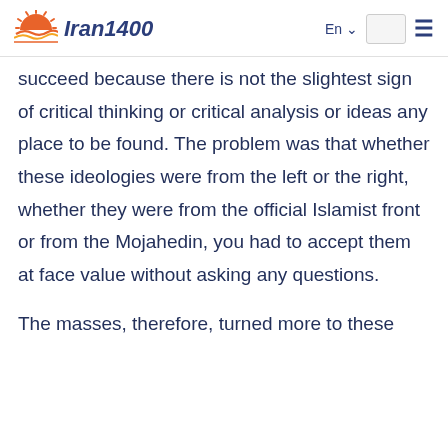Iran1400 | En | [search] | [menu]
succeed because there is not the slightest sign of critical thinking or critical analysis or ideas any place to be found. The problem was that whether these ideologies were from the left or the right, whether they were from the official Islamist front or from the Mojahedin, you had to accept them at face value without asking any questions.
The masses, therefore, turned more to these